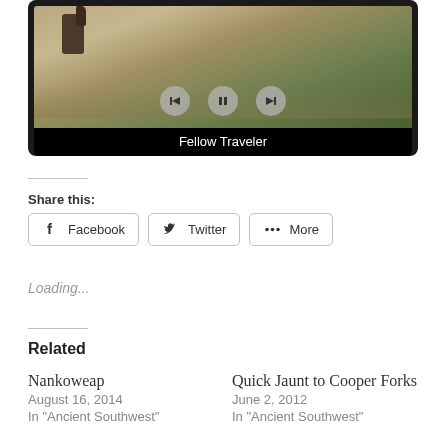[Figure (screenshot): A slideshow/video player widget showing an outdoor desert trail photo with a donkey, navigation controls (back, pause, forward), and caption 'Fellow Traveler' on a black bar at the bottom.]
Fellow Traveler
Share this:
Facebook  Twitter  More
Loading...
Related
Nankoweap
August 16, 2014
In "Ancient Southwest"
Quick Jaunt to Cooper Forks
June 2, 2012
In "Ancient Southwest"